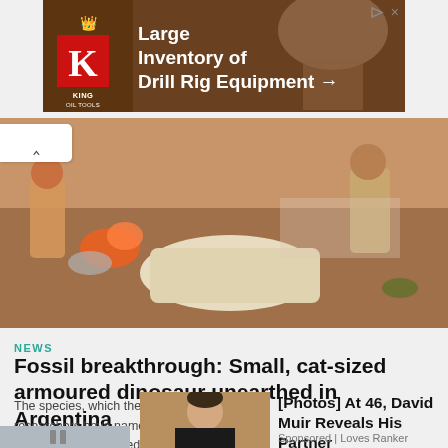[Figure (photo): King Oil Tools advertisement banner showing logo and drill rig equipment photo with text: Large Inventory of Drill Rig Equipment →]
[Figure (photo): Archaeological dig site photo showing researchers uncovering fossil bones in reddish rocky terrain, outdoors in Argentina]
NEWS
Fossil breakthrough: Small, cat-sized armoured dinosaur unearthed in Argentina
The species, which the researchers have named "Jakapil (cc)(ND)kura", lived aro...87–94 milli...s ago, during the...
[Figure (photo): Portrait photo of David Muir, man in dark clothing, partially overlaid by sponsored advertisement]
[Photos] At 46, David Muir Reveals His Partner
Sponsored | Loves Ranker